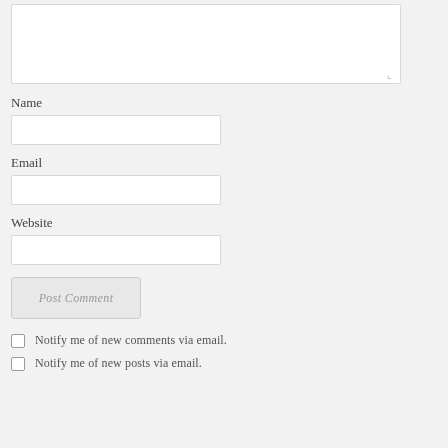[Figure (screenshot): Empty comment textarea input box with resize handle at bottom right]
Name
[Figure (screenshot): Name text input field, empty]
Email
[Figure (screenshot): Email text input field, empty]
Website
[Figure (screenshot): Website text input field, empty]
[Figure (screenshot): Post Comment button, light grey]
Notify me of new comments via email.
Notify me of new posts via email.